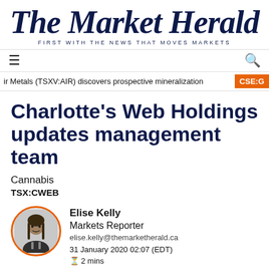The Market Herald — FIRST WITH THE NEWS THAT MOVES MARKETS
ir Metals (TSXV:AIR) discovers prospective mineralization
Charlotte's Web Holdings updates management team
Cannabis
TSX:CWEB
Elise Kelly
Markets Reporter
elise.kelly@themarketherald.ca
31 January 2020 02:07 (EDT)
⊙2 mins